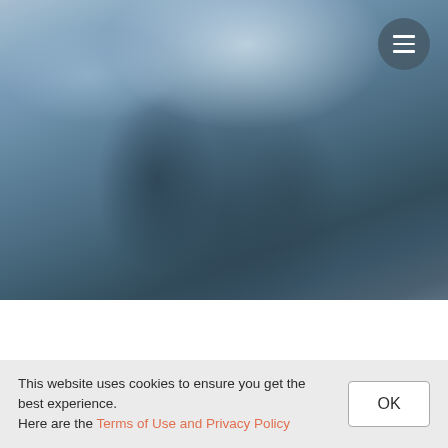[Figure (photo): Blurry abstract background image with bluish-grey tones, possibly showing silhouettes of people or urban scene out of focus. A circular dark grey hamburger menu button is visible in the top-right corner.]
This website uses cookies to ensure you get the best experience.
Here are the Terms of Use and Privacy Policy
OK